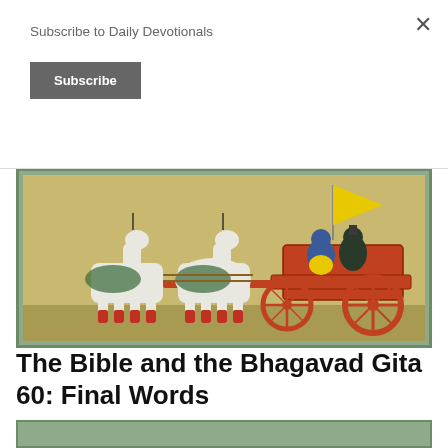Subscribe to Daily Devotionals
Subscribe
[Figure (illustration): Indian miniature painting showing a chariot with two decorated white horses with red legs, pulled by riders including blue-skinned figures (Krishna and Arjuna), with a yellow flag, framed in teal/green border on a golden background.]
The Bible and the Bhagavad Gita 60: Final Words
[Figure (illustration): Partial view of another Indian miniature painting framed in teal/green border, only top portion visible.]